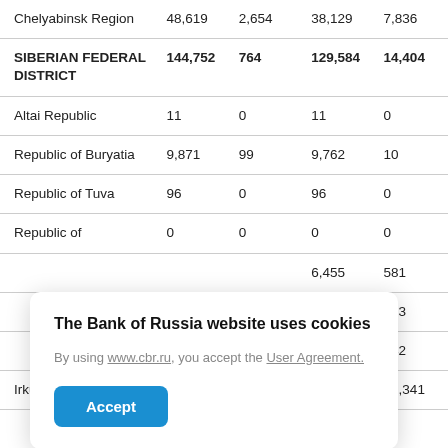| Region | Col1 | Col2 | Col3 | Col4 |
| --- | --- | --- | --- | --- |
| Chelyabinsk Region | 48,619 | 2,654 | 38,129 | 7,836 |
| SIBERIAN FEDERAL DISTRICT | 144,752 | 764 | 129,584 | 14,404 |
| Altai Republic | 11 | 0 | 11 | 0 |
| Republic of Buryatia | 9,871 | 99 | 9,762 | 10 |
| Republic of Tuva | 96 | 0 | 96 | 0 |
| Republic of | 0 | 0 | 0 | 0 |
| [partial] | [partial],455 | 581 |  |  |
| [partial] | [partial]267 | 153 |  |  |
| [partial] | [partial],130 | 142 |  |  |
| Irkutsk Region | 97,866 | 60 | 86,466 | 11,341 |
The Bank of Russia website uses cookies. By using www.cbr.ru, you accept the User Agreement.